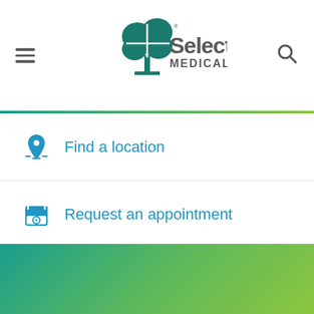[Figure (logo): Select Medical logo with teal tree icon and gray text 'Select MEDICAL']
Find a location
Request an appointment
Make a referral